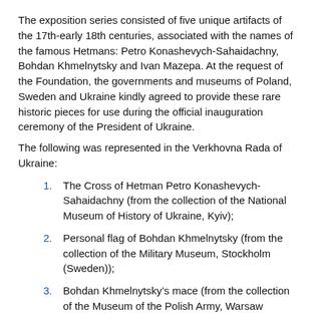The exposition series consisted of five unique artifacts of the 17th-early 18th centuries, associated with the names of the famous Hetmans: Petro Konashevych-Sahaidachny, Bohdan Khmelnytsky and Ivan Mazepa. At the request of the Foundation, the governments and museums of Poland, Sweden and Ukraine kindly agreed to provide these rare historic pieces for use during the official inauguration ceremony of the President of Ukraine.
The following was represented in the Verkhovna Rada of Ukraine:
The Cross of Hetman Petro Konashevych-Sahaidachny (from the collection of the National Museum of History of Ukraine, Kyiv);
Personal flag of Bohdan Khmelnytsky (from the collection of the Military Museum, Stockholm (Sweden));
Bohdan Khmelnytsky’s mace (from the collection of the Museum of the Polish Army, Warsaw (Poland));
Bohdan Khmelnytsky’s hat (from the collection of the National Museum of History of Ukraine, Kyiv);
Reliquary of Ivan Mazepa (Office of the President of Ukraine).